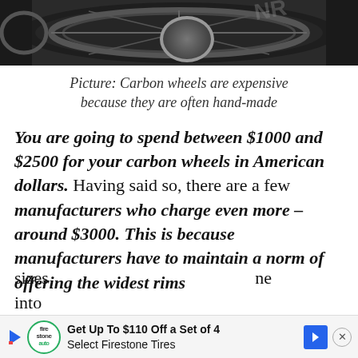[Figure (photo): Close-up photograph of a dark carbon bicycle wheel, showing the rim and spokes from above]
Picture: Carbon wheels are expensive because they are often hand-made
You are going to spend between $1000 and $2500 for your carbon wheels in American dollars. Having said so, there are a few manufacturers who charge even more – around $3000. This is because manufacturers have to maintain a norm of offering the widest rims sizes... into...
[Figure (other): Advertisement banner: Get Up To $110 Off a Set of 4 Select Firestone Tires, with Firestone auto logo and blue arrow navigation icon]